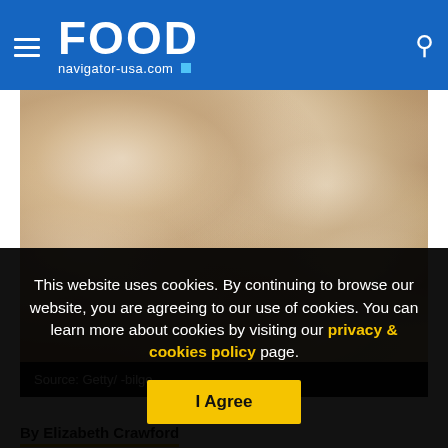FOOD navigator-usa.com
[Figure (photo): Close-up photo of sliced raw mushrooms piled together, showing the white and tan flesh and gills of button mushrooms]
Source: Getty/ -bilge
By Elizabeth Crawford
This website uses cookies. By continuing to browse our website, you are agreeing to our use of cookies. You can learn more about cookies by visiting our privacy & cookies policy page.
I Agree